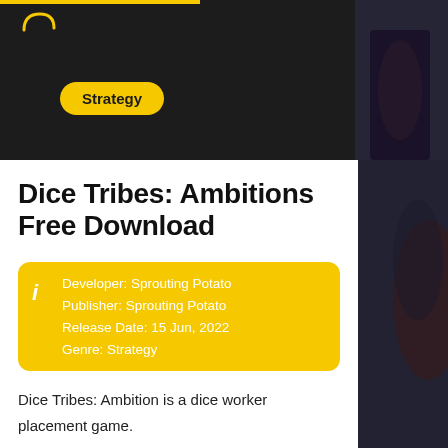[Figure (screenshot): Dark hero banner background with game imagery on right side]
Strategy
Dice Tribes: Ambitions Free Download
| Developer: Sprouting Potato |
| Publisher: Sprouting Potato |
| Release Date: 15 Jun, 2022 |
| Genre: Strategy |
Dice Tribes: Ambition is a dice worker placement game.